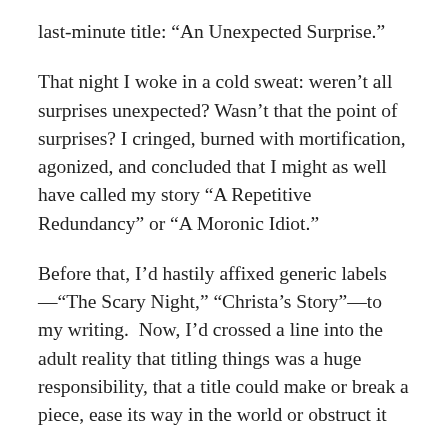last-minute title: “An Unexpected Surprise.”
That night I woke in a cold sweat: weren’t all surprises unexpected? Wasn’t that the point of surprises? I cringed, burned with mortification, agonized, and concluded that I might as well have called my story “A Repetitive Redundancy” or “A Moronic Idiot.”
Before that, I’d hastily affixed generic labels—“The Scary Night,” “Christa’s Story”—to my writing. Now, I’d crossed a line into the adult reality that titling things was a huge responsibility, that a title could make or break a piece, ease its way in the world or obstruct it